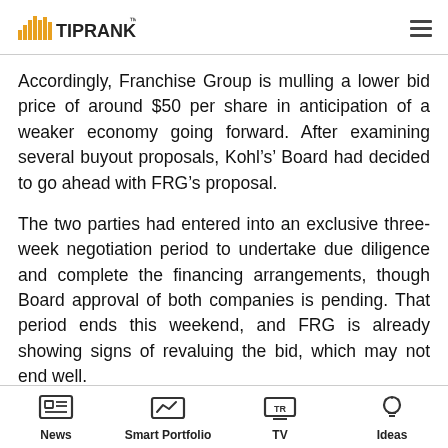TipRanks
Accordingly, Franchise Group is mulling a lower bid price of around $50 per share in anticipation of a weaker economy going forward. After examining several buyout proposals, Kohl’s’ Board had decided to go ahead with FRG’s proposal.
The two parties had entered into an exclusive three-week negotiation period to undertake due diligence and complete the financing arrangements, though Board approval of both companies is pending. That period ends this weekend, and FRG is already showing signs of revaluing the bid, which may not end well.
News  Smart Portfolio  TV  Ideas